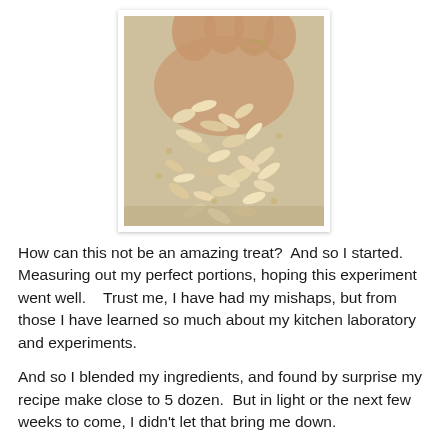[Figure (photo): A close-up photo of oats or rolled grain flakes being held in an open hand, with a ring visible on one finger. The oats are light beige and flaky. The image has a white border and slight drop shadow.]
How can this not be an amazing treat?  And so I started.  Measuring out my perfect portions, hoping this experiment went well.   Trust me, I have had my mishaps, but from those I have learned so much about my kitchen laboratory and experiments.
And so I blended my ingredients, and found by surprise my recipe make close to 5 dozen.  But in light or the next few weeks to come, I didn't let that bring me down.